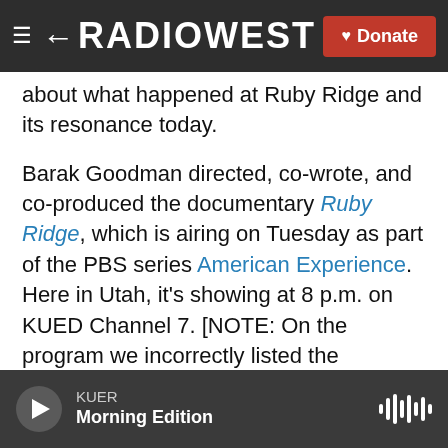RADIOWEST — Donate
about what happened at Ruby Ridge and its resonance today.
Barak Goodman directed, co-wrote, and co-produced the documentary Ruby Ridge, which is airing on Tuesday as part of the PBS series American Experience. Here in Utah, it's showing at 8 p.m. on KUED Channel 7. [NOTE: On the program we incorrectly listed the screening time as 9 p.m. We apologize for the error.] You can now view the program in its entirety at PBS.org.
Mr. Goodman also wrote, directed, and co-produced the documentary film Oklahoma City for
KUER — Morning Edition